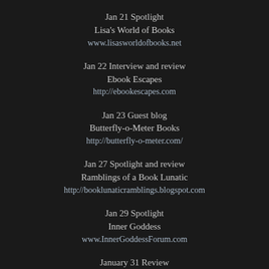Jan 21 Spotlight
Lisa's World of Books
www.lisasworldofbooks.net
Jan 22 Interview and review
Ebook Escapes
http://ebookescapes.com
Jan 23 Guest blog
Butterfly-o-Meter Books
http://butterfly-o-meter.com/
Jan 27 Spotlight and review
Ramblings of a Book Lunatic
http://booklunaticramblings.blogspot.com
Jan 29 Spotlight
Inner Goddess
www.InnerGoddessForum.com
January 31 Review